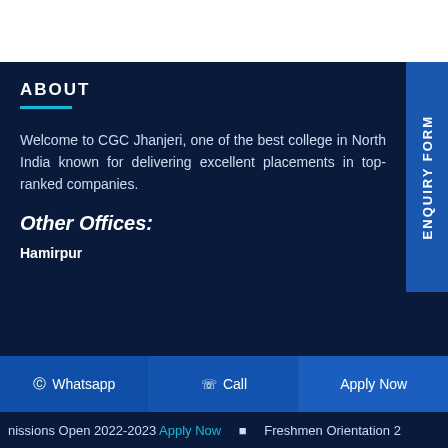ABOUT
Welcome to CGC Jhanjeri, one of the best college in North India known for delivering excellent placements in top-ranked companies.
Other Offices:
Hamirpur
Whatsapp   Call   Apply Now
nissions Open 2022-2023 Apply Now   Freshmen Orientation 2